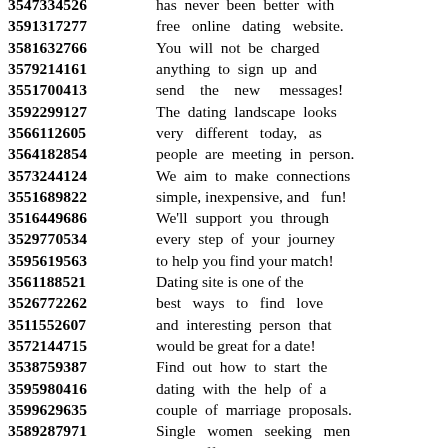3547334526 has never been better with
3591317277 free online dating website.
3581632766 You will not be charged
3579214161 anything to sign up and
3551700413 send the new messages!
3592299127 The dating landscape looks
3566112605 very different today, as
3564182854 people are meeting in person.
3573244124 We aim to make connections
3551689822 simple, inexpensive, and fun!
3516449686 We'll support you through
3529770534 every step of your journey
3595619563 to help you find your match!
3561188521 Dating site is one of the
3526772262 best ways to find love
3511552607 and interesting person that
3572144715 would be great for a date!
3538759387 Find out how to start the
3595980416 dating with the help of a
3599629635 couple of marriage proposals.
3589287971 Single women seeking men
3564231725 have different desires and
3520639722 fantasies such as the
3589533473 marriage, good relationships,
3518227172 desire for something special.
3585311860 Quick and easy to join and